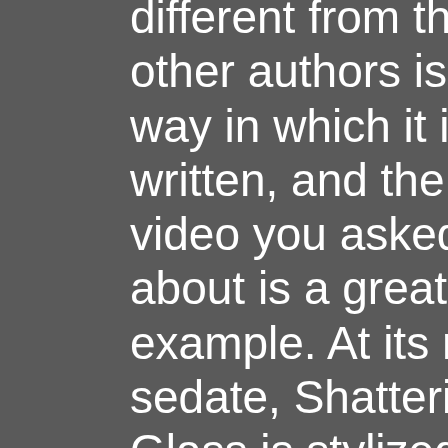different from those other authors is the way in which it is written, and the video you asked about is a great example. At its most sedate, Shattering Glass is stylized —